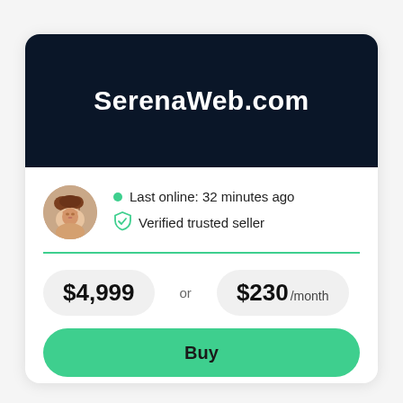SerenaWeb.com
Last online: 32 minutes ago
Verified trusted seller
$4,999 or $230 /month
Buy